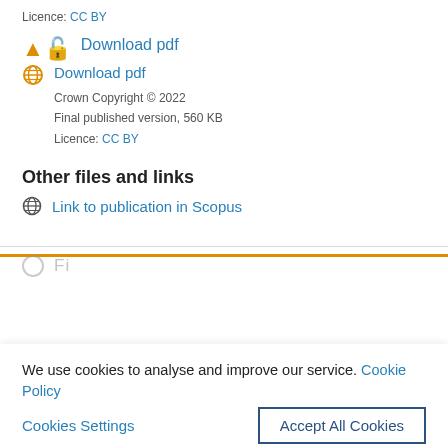Licence: CC BY
Download pdf
Crown Copyright © 2022
Final published version, 560 KB
Licence: CC BY
Other files and links
Link to publication in Scopus
We use cookies to analyse and improve our service. Cookie Policy
Cookies Settings
Accept All Cookies